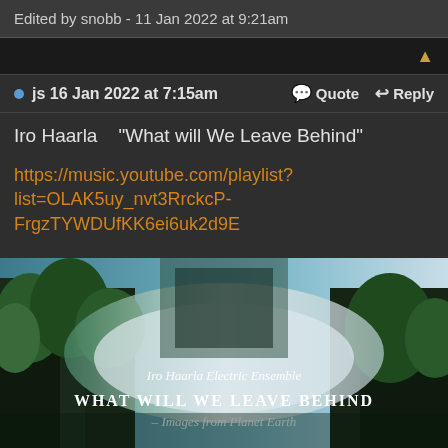Edited by snobb - 11 Jan 2022 at 9:21am
js 16 Jan 2022 at 7:15am   Quote   Reply
Iro Haarla   "What will We Leave Behind"
https://music.youtube.com/playlist?list=OLAK5uy_nvt3RrckcP-FrgzTYWDUfKK6ei6uk2d9E
[Figure (photo): Album cover for Iro Haarla Electric Ensemble - WHAT WILL WE LEAVE BEHIND – Images from Planet Earth, showing lush green forested landscape with text overlay in italic and serif fonts]